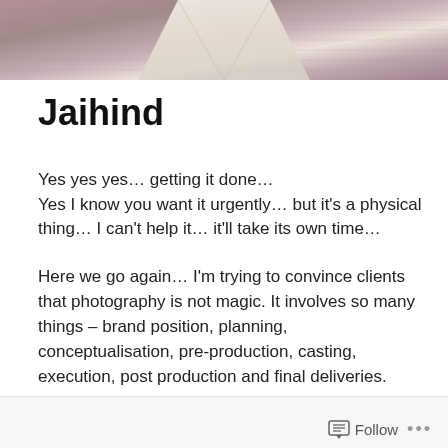[Figure (photo): Decorative banner photo showing fabric/clothing texture in muted pink and brown tones with a light triangular shape in the center]
Jaihind
Yes yes yes… getting it done…
Yes I know you want it urgently… but it's a physical thing… I can't help it… it'll take its own time…
Here we go again… I'm trying to convince clients that photography is not magic. It involves so many things – brand position, planning, conceptualisation, pre-production, casting, execution, post production and final deliveries.
That is the story of my life.
Follow